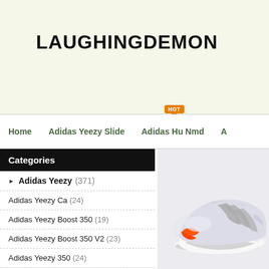LAUGHINGDEMON
Home | Adidas Yeezy Slide (HOT) | Adidas Hu Nmd
Home :: Adidas Ultra Boost :: Adidas Ultr
Categories
Adidas Yeezy (371)
Adidas Yeezy Ca (24)
Adidas Yeezy Boost 350 (19)
Adidas Yeezy Boost 350 V2 (23)
Adidas Yeezy 350 (24)
Adidas Yeezy Boost (26)
Adidas Ca Yeezy (25)
Adidas Yeezy 700 (26)
[Figure (photo): White and silver Adidas Ultra Boost sneaker with orange accent on a light grey background]